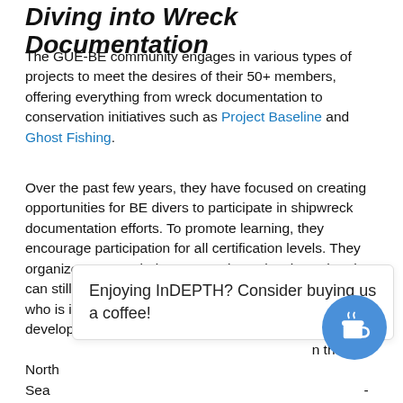Diving into Wreck Documentation
The GUE-BE community engages in various types of projects to meet the desires of their 50+ members, offering everything from wreck documentation to conservation initiatives such as Project Baseline and Ghost Fishing.
Over the past few years, they have focused on creating opportunities for BE divers to participate in shipwreck documentation efforts. To promote learning, they encourage participation for all certification levels. They organize teams to balance experience levels so that they can still meet their project goals while allowing everyone who is interested to participate. The community has also developed internal training with a specific syllabus adapted to the North Sea -wa lake such Surface Marker Buoy (SMB) deployment, ascending skills, s-
Enjoying InDEPTH? Consider buying us a coffee!